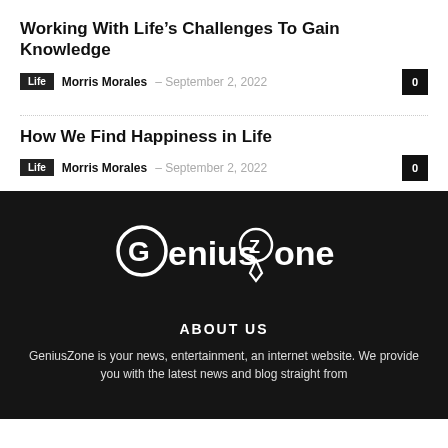Working With Life’s Challenges To Gain Knowledge
Life  Morris Morales – September 2, 2022   0
How We Find Happiness in Life
Life  Morris Morales – September 2, 2022   0
[Figure (logo): GeniusZone logo with stylized G icon and location pin Z]
ABOUT US
GeniusZone is your news, entertainment, an internet website. We provide you with the latest news and blog straight from